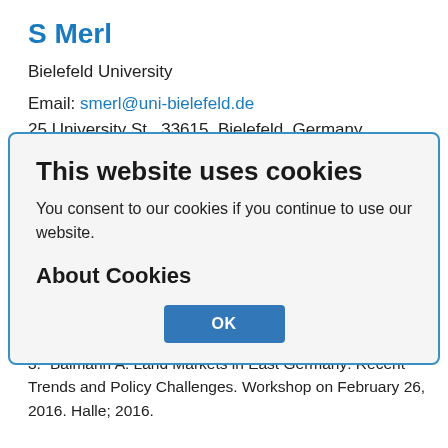S Merl
Bielefeld University
Email: smerl@uni-bielefeld.de
25 University St., 33615, Bielefeld, Germany
References
ht der Bundesregierung 1992-1996. Bonn, 1992-1996.
obrazovanija v vostochnoj Germanii [Agrarian Transformations in East Germany]. Moscow: VIAPI; 1997 (In Russ.)
This website uses cookies
You consent to our cookies if you continue to use our website.
About Cookies
OK
3. Balmann A. Land Markets in East Germany: Recent Trends and Policy Challenges. Workshop on February 26, 2016. Halle; 2016.